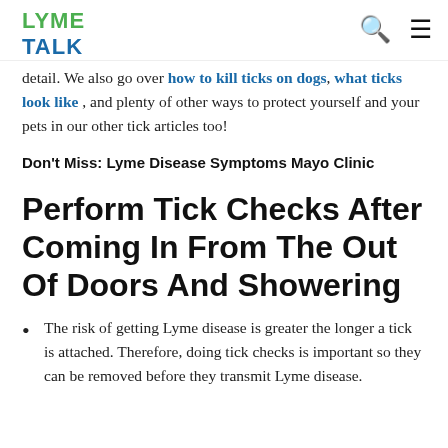LYME TALK
detail. We also go over how to kill ticks on dogs, what ticks look like, and plenty of other ways to protect yourself and your pets in our other tick articles too!
Don't Miss: Lyme Disease Symptoms Mayo Clinic
Perform Tick Checks After Coming In From The Out Of Doors And Showering
The risk of getting Lyme disease is greater the longer a tick is attached. Therefore, doing tick checks is important so they can be removed before they transmit Lyme disease.